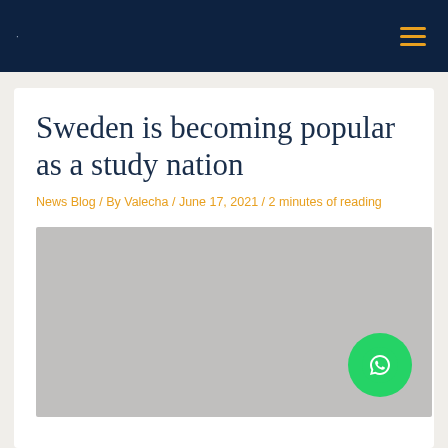· ☰
Sweden is becoming popular as a study nation
News Blog / By Valecha / June 17, 2021 / 2 minutes of reading
[Figure (photo): Gray placeholder image for article about Sweden as a study nation]